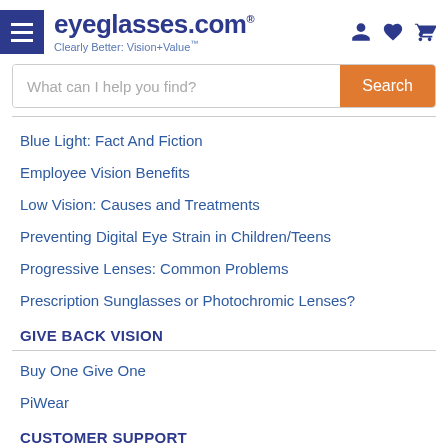[Figure (logo): eyeglasses.com logo with hamburger menu icon, person icon, heart icon, and cart icon]
What can I help you find? [Search button]
Blue Light: Fact And Fiction
Employee Vision Benefits
Low Vision: Causes and Treatments
Preventing Digital Eye Strain in Children/Teens
Progressive Lenses: Common Problems
Prescription Sunglasses or Photochromic Lenses?
GIVE BACK VISION
Buy One Give One
PiWear
CUSTOMER SUPPORT